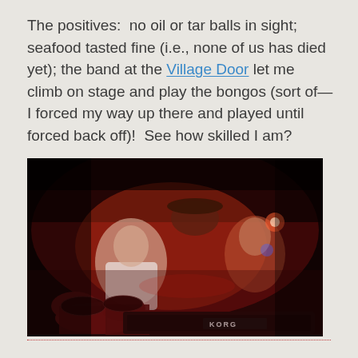The positives:  no oil or tar balls in sight; seafood tasted fine (i.e., none of us has died yet); the band at the Village Door let me climb on stage and play the bongos (sort of—I forced my way up there and played until forced back off)!  See how skilled I am?
[Figure (photo): A dark, red-lit photo of musicians on stage with bongo drums in the foreground and a Korg keyboard visible, blurry figures of performers in the background under red stage lighting.]